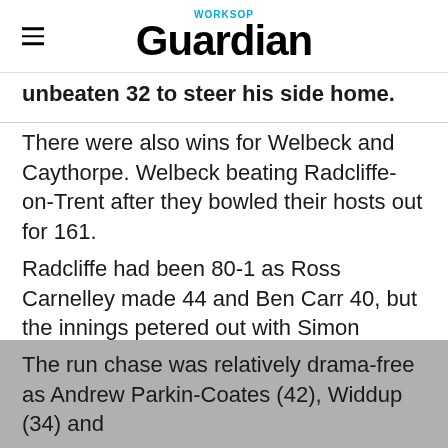Worksop Guardian
unbeaten 32 to steer his side home.
There were also wins for Welbeck and Caythorpe. Welbeck beating Radcliffe-on-Trent after they bowled their hosts out for 161.
Radcliffe had been 80-1 as Ross Carnelley made 44 and Ben Carr 40, but the innings petered out with Simon Widdup taking 6-34, backed by 3-47 from Jonathan Ball.
The run chase was relatively drama-free as Andrew Parkin-Coates (42), Widdup (34) and